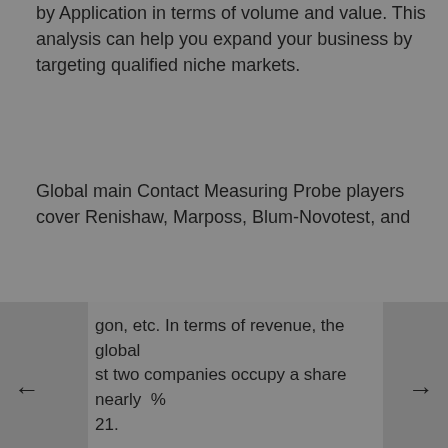by Application in terms of volume and value. This analysis can help you expand your business by targeting qualified niche markets.
Global main Contact Measuring Probe players cover Renishaw, Marposs, Blum-Novotest, and gon, etc. In terms of revenue, the global st two companies occupy a share nearly % 21.
Request Sample Report and Full Report TOC:
https://www.lpinformationdata.com/reports/383110/contact-measuring-probe-2028